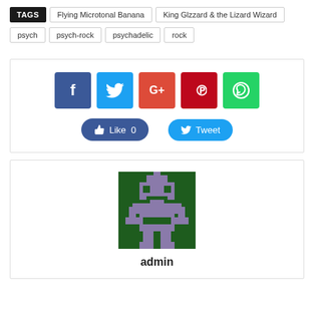TAGS | Flying Microtonal Banana | King Glzzard & the Lizard Wizard | psych | psych-rock | psychadelic | rock
[Figure (infographic): Social sharing buttons: Facebook (blue), Twitter (light blue), Google+ (red-orange), Pinterest (dark red), WhatsApp (green), plus Like 0 and Tweet action buttons]
[Figure (photo): Pixel art avatar icon of a robot/alien figure in green and purple/grey on dark green background, labeled 'admin']
admin